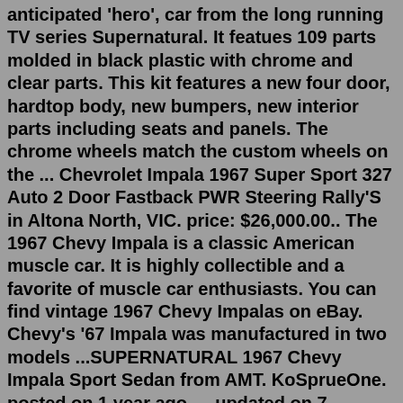anticipated 'hero', car from the long running TV series Supernatural. It featues 109 parts molded in black plastic with chrome and clear parts. This kit features a new four door, hardtop body, new bumpers, new interior parts including seats and panels. The chrome wheels match the custom wheels on the ... Chevrolet Impala 1967 Super Sport 327 Auto 2 Door Fastback PWR Steering Rally'S in Altona North, VIC. price: $26,000.00.. The 1967 Chevy Impala is a classic American muscle car. It is highly collectible and a favorite of muscle car enthusiasts. You can find vintage 1967 Chevy Impalas on eBay. Chevy's '67 Impala was manufactured in two models ...SUPERNATURAL 1967 Chevy Impala Sport Sedan from AMT. KoSprueOne. posted on 1 year ago — updated on 7 months ago. 2,150. views. AMT issues Dean Winchester's 4-Door '67 Chevy Impala from the TV show, Supernatural. A few parts are from previous kits but this kit contains a lot of new tooled details. Round 2, LLC. Kit # AMT1124/12. SUPERNATURAL READY . all original 1967 Chevy